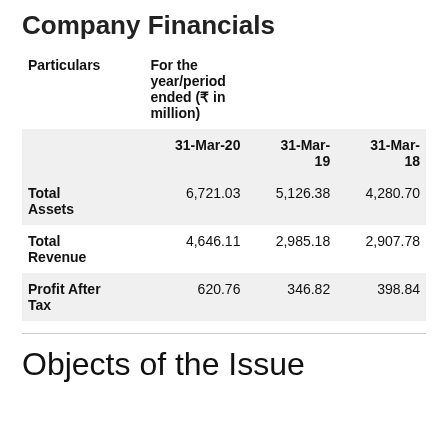Company Financials
| Particulars | For the year/period ended (₹ in million)
31-Mar-20 | 31-Mar-19 | 31-Mar-18 |
| --- | --- | --- | --- |
| Total Assets | 6,721.03 | 5,126.38 | 4,280.70 |
| Total Revenue | 4,646.11 | 2,985.18 | 2,907.78 |
| Profit After Tax | 620.76 | 346.82 | 398.84 |
Objects of the Issue